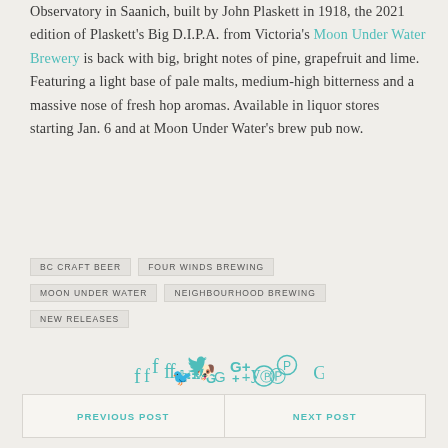Observatory in Saanich, built by John Plaskett in 1918, the 2021 edition of Plaskett's Big D.I.P.A. from Victoria's Moon Under Water Brewery is back with big, bright notes of pine, grapefruit and lime. Featuring a light base of pale malts, medium-high bitterness and a massive nose of fresh hop aromas. Available in liquor stores starting Jan. 6 and at Moon Under Water's brew pub now.
BC CRAFT BEER
FOUR WINDS BREWING
MOON UNDER WATER
NEIGHBOURHOOD BREWING
NEW RELEASES
[Figure (other): Social share icons: Facebook (f), Twitter (bird), Google+ (G+), Pinterest (P)]
PREVIOUS POST | NEXT POST